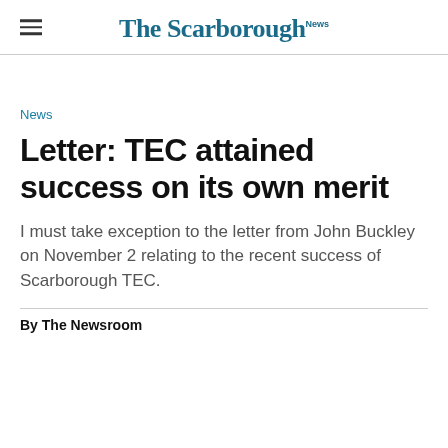The Scarborough News
News
Letter: TEC attained success on its own merit
I must take exception to the letter from John Buckley on November 2 relating to the recent success of Scarborough TEC.
By The Newsroom